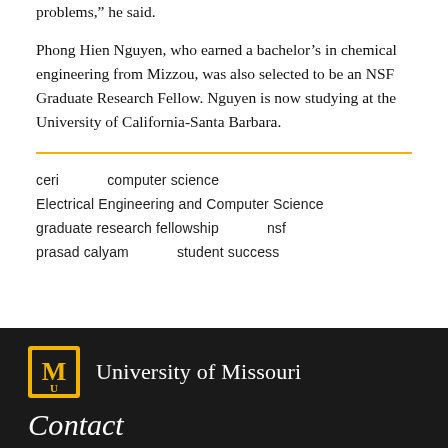problems,” he said.
Phong Hien Nguyen, who earned a bachelor’s in chemical engineering from Mizzou, was also selected to be an NSF Graduate Research Fellow. Nguyen is now studying at the University of California-Santa Barbara.
ceri
computer science
Electrical Engineering and Computer Science
graduate research fellowship
nsf
prasad calyam
student success
University of Missouri